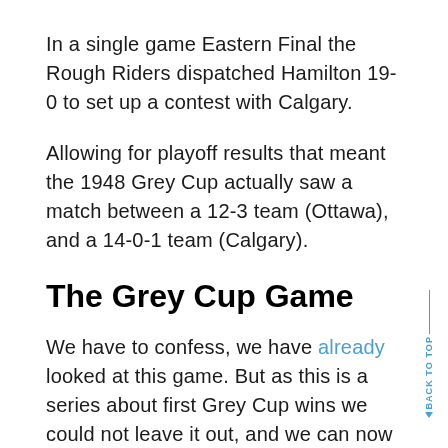In a single game Eastern Final the Rough Riders dispatched Hamilton 19-0 to set up a contest with Calgary.
Allowing for playoff results that meant the 1948 Grey Cup actually saw a match between a 12-3 team (Ottawa), and a 14-0-1 team (Calgary).
The Grey Cup Game
We have to confess, we have already looked at this game. But as this is a series about first Grey Cup wins we could not leave it out, and we can now look in a little more detail.
This is a game with to ties with Winnipeg's first win